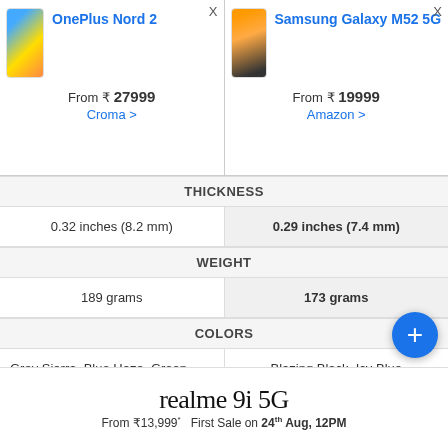OnePlus Nord 2
From ₹ 27999 Croma >
Samsung Galaxy M52 5G
From ₹ 19999 Amazon >
THICKNESS
| OnePlus Nord 2 | Samsung Galaxy M52 5G |
| --- | --- |
| 0.32 inches (8.2 mm) | 0.29 inches (7.4 mm) |
WEIGHT
| OnePlus Nord 2 | Samsung Galaxy M52 5G |
| --- | --- |
| 189 grams | 173 grams |
COLORS
| OnePlus Nord 2 | Samsung Galaxy M52 5G |
| --- | --- |
| Grey Sierra, Blue Haze, Green Wood | Blazing Black, Icy Blue |
DISPLAY
Hide
RESOLUTION
| OnePlus Nord 2 | Samsung Galaxy M52 5G |
| --- | --- |
| 1080 x 2400 pixels | 1080 x 2400 pixels |
realme 9i 5G From ₹13,999* First Sale on 24th Aug, 12PM